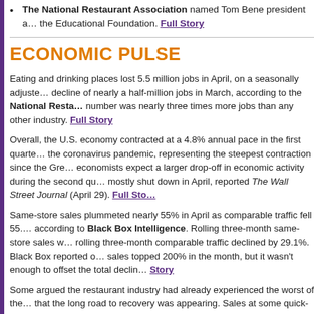The National Restaurant Association named Tom Bene president and... the Educational Foundation. Full Story
ECONOMIC PULSE
Eating and drinking places lost 5.5 million jobs in April, on a seasonally adjusted basis, following a decline of nearly a half-million jobs in March, according to the National Restaurant Association. That number was nearly three times more jobs than any other industry. Full Story
Overall, the U.S. economy contracted at a 4.8% annual pace in the first quarter due to the coronavirus pandemic, representing the steepest contraction since the Great Recession. Most economists expect a larger drop-off in economic activity during the second quarter, when the economy was mostly shut down in April, reported The Wall Street Journal (April 29). Full Story
Same-store sales plummeted nearly 55% in April as comparable traffic fell 55.1% in the month, according to Black Box Intelligence. Rolling three-month same-store sales were down 36.9% while rolling three-month comparable traffic declined by 29.1%. Black Box reported off-premises same-store sales topped 200% in the month, but it wasn't enough to offset the total decline. Full Story
Some argued the restaurant industry had already experienced the worst of the crisis and that the long road to recovery was appearing. Sales at some quick-service chains recovered after mandatory closures ground the restaurant industry to a halt in March. Comparable transaction counts reported much higher average spending per customer as large orders for family meals increased. Investments in online ordering capabilities also paid off.
Selected Restaurant Operator Results